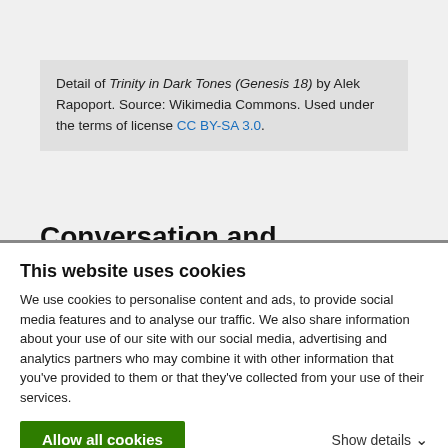Detail of Trinity in Dark Tones (Genesis 18) by Alek Rapoport. Source: Wikimedia Commons. Used under the terms of license CC BY-SA 3.0.
Conversation and conversion: commitment to dialogue
by Sr. Donna Geernaert, SC
This website uses cookies
We use cookies to personalise content and ads, to provide social media features and to analyse our traffic. We also share information about your use of our site with our social media, advertising and analytics partners who may combine it with other information that you've provided to them or that they've collected from your use of their services.
Allow all cookies
Show details